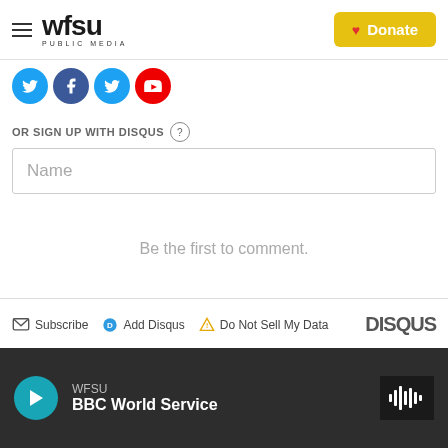WFSU PUBLIC MEDIA | Donate
[Figure (screenshot): Social media sharing icons: Twitter (blue), Facebook (dark blue), Twitter (blue), YouTube (red)]
OR SIGN UP WITH DISQUS ?
Name
Be the first to comment.
Subscribe  Add Disqus  Do Not Sell My Data  DISQUS
WFSU BBC World Service